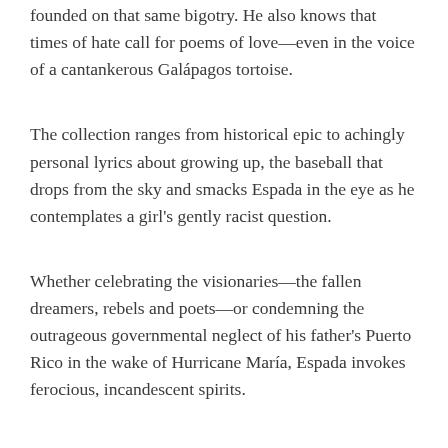founded on that same bigotry. He also knows that times of hate call for poems of love—even in the voice of a cantankerous Galápagos tortoise.
The collection ranges from historical epic to achingly personal lyrics about growing up, the baseball that drops from the sky and smacks Espada in the eye as he contemplates a girl's gently racist question.
Whether celebrating the visionaries—the fallen dreamers, rebels and poets—or condemning the outrageous governmental neglect of his father's Puerto Rico in the wake of Hurricane María, Espada invokes ferocious, incandescent spirits.